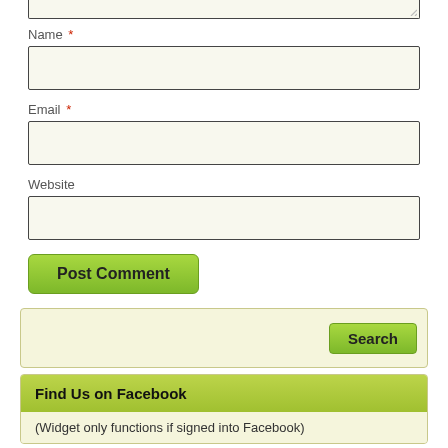[Figure (screenshot): Top portion of a textarea input field with resize handle in corner, clipped at top]
Name *
[Figure (screenshot): Name text input field with beige/cream background]
Email *
[Figure (screenshot): Email text input field with beige/cream background]
Website
[Figure (screenshot): Website text input field with beige/cream background]
[Figure (screenshot): Post Comment button, green gradient]
[Figure (screenshot): Search widget box with Search button on the right]
Find Us on Facebook
(Widget only functions if signed into Facebook)